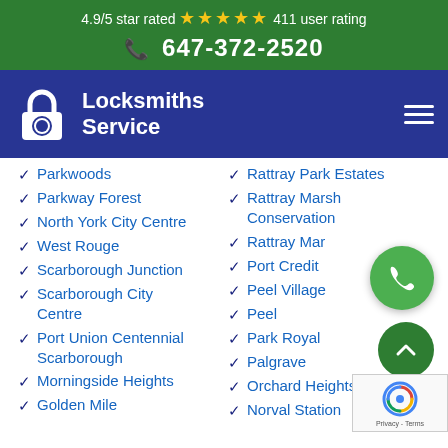4.9/5 star rated ★★★★★ 411 user rating
☎ 647-372-2520
[Figure (logo): Locksmiths Service logo with padlock icon and white text on dark blue background]
Parkwoods
Rattray Park Estates
Parkway Forest
Rattray Marsh Conservation
North York City Centre
Rattray Mar
West Rouge
Port Credit
Scarborough Junction
Peel Village
Scarborough City Centre
Peel
Port Union Centennial Scarborough
Park Royal
Palgrave
Morningside Heights
Orchard Heights
Golden Mile
Norval Station